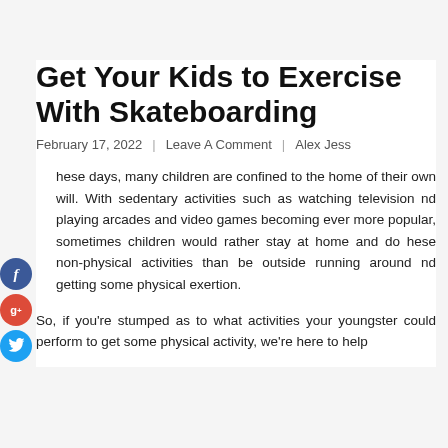Get Your Kids to Exercise With Skateboarding
February 17, 2022  |  Leave A Comment  |  Alex Jess
These days, many children are confined to the home of their own will. With sedentary activities such as watching television and playing arcades and video games becoming ever more popular, sometimes children would rather stay at home and do these non-physical activities than be outside running around and getting some physical exertion.
So, if you're stumped as to what activities your youngster could perform to get some physical activity, we're here to help